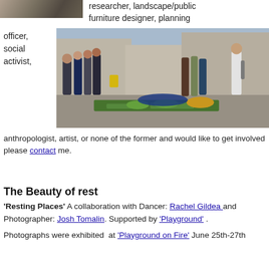[Figure (photo): Top left photo - people on grass mats outdoors (partially visible, cropped at top)]
researcher, landscape/public furniture designer, planning
officer, social activist,
[Figure (photo): Street scene with people lying on green grass mats/cushions on a busy urban street, buildings in background]
anthropologist, artist, or none of the former and would like to get involved please contact me.
The Beauty of rest
'Resting Places' A collaboration with Dancer: Rachel Gildea and Photographer: Josh Tomalin. Supported by 'Playground' .
Photographs were exhibited  at 'Playground on Fire' June 25th-27th